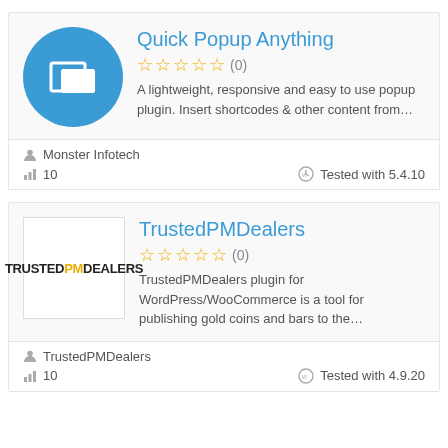[Figure (illustration): Quick Popup Anything plugin icon: blue circle with two overlapping white rectangles]
Quick Popup Anything
☆☆☆☆☆ (0)
A lightweight, responsive and easy to use popup plugin. Insert shortcodes & other content from…
Monster Infotech
10
Tested with 5.4.10
[Figure (logo): TrustedPMDealers text logo in black and gold]
TrustedPMDealers
☆☆☆☆☆ (0)
TrustedPMDealers plugin for WordPress/WooCommerce is a tool for publishing gold coins and bars to the…
TrustedPMDealers
10
Tested with 4.9.20